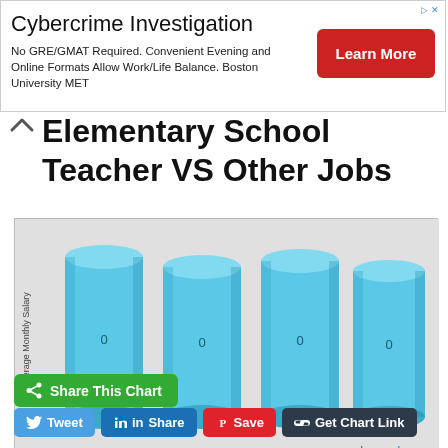[Figure (infographic): Advertisement banner: Cybercrime Investigation, No GRE/GMAT Required. Convenient Evening and Online Formats Allow Work/Life Balance. Boston University MET. Learn More button.]
Elementary School Teacher VS Other Jobs
[Figure (bar-chart): Elementary School Teacher VS Other Jobs]
Share This Chart
Tweet  Share  Save  Get Chart Link